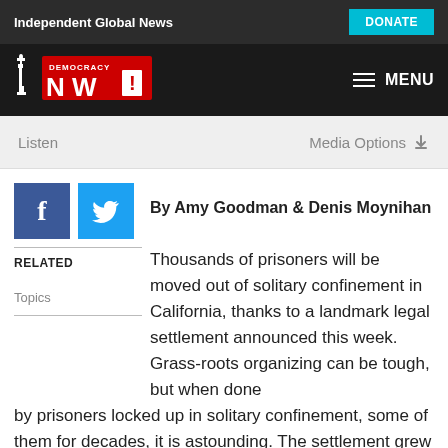Independent Global News
[Figure (logo): Democracy Now! logo with Statue of Liberty icon in red and white on dark background]
Listen    Media Options
By Amy Goodman & Denis Moynihan
RELATED
Topics
Thousands of prisoners will be moved out of solitary confinement in California, thanks to a landmark legal settlement announced this week. Grass-roots organizing can be tough, but when done by prisoners locked up in solitary confinement, some of them for decades, it is astounding. The settlement grew out of a federal class-action lawsuit alleging violations of